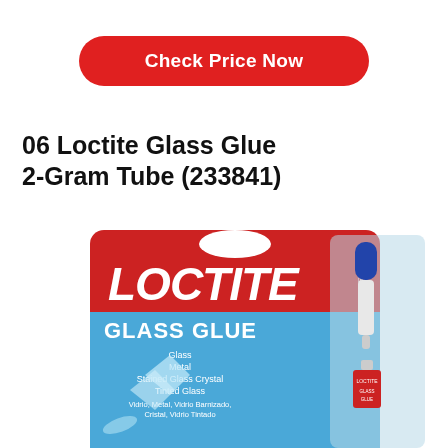Check Price Now
06 Loctite Glass Glue 2-Gram Tube (233841)
[Figure (photo): Loctite Glass Glue 2-Gram Tube product packaging — red and blue blister card with LOCTITE branding, showing a small glue tube with blue cap, featuring text: Glass, Metal, Stained Glass Crystal, Tinted Glass]